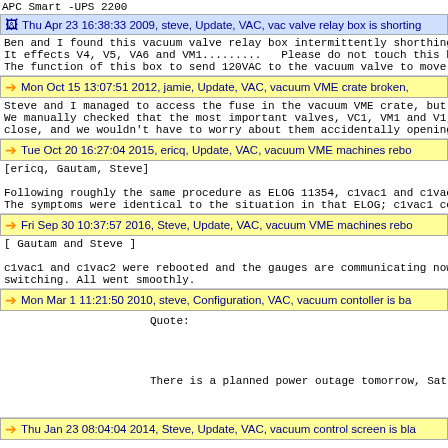APC Smart -UPS 2200
Thu Apr 23 16:38:33 2009, steve, Update, VAC, vac valve relay box is shorting
Ben and I found this vacuum valve relay box intermittently shorthing s
It effects V4, V5, VA6 and VM1.........    Please do not touch this box
The function of this box to send 120VAC to the vacuum valve to move.
Mon Oct 15 13:07:51 2012, jamie, Update, VAC, vacuum VME crate broken,
Steve and I managed to access the fuse in the vacuum VME crate, but re
We manually checked that the most important valves, VC1, VM1 and V1, n
close, and we wouldn't have to worry about them accidentally opening w
Tue Oct 20 16:27:04 2015, ericq, Update, VAC, vacuum VME machines rebo
[ericq, Gautam, Steve]

Following roughly the same procedure as ELOG 11354, c1vac1 and c1vac2
The symptoms were identical to the situation in that ELOG; c1vac1 cou.
Fri Sep 30 10:37:57 2016, Steve, Update, VAC, vacuum VME machines rebo
[ Gautam and Steve ]

c1vac1 and c1vac2 were rebooted and the gauges are communicating now.
switching. All went smoothly.
Mon Mar 1 11:21:50 2010, steve, Configuration, VAC, vacuum contoller is ba
Quote:




There is a planned power outage tomorrow, Saturday from 7a
Thu Jan 23 08:04:04 2014, Steve, Update, VAC, vacuum control screen is bla